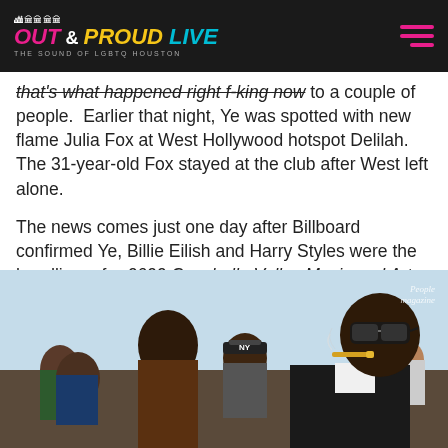OUT & PROUD LIVE — THE SOUND OF LGBTQ HOUSTON
that's what happened right f-king now to a couple of people.  Earlier that night, Ye was spotted with new flame Julia Fox at West Hollywood hotspot Delilah. The 31-year-old Fox stayed at the club after West left alone.
The news comes just one day after Billboard confirmed Ye, Billie Eilish and Harry Styles were the headliners for 2022 Coachella Valley Music and Arts Festival.
[Figure (photo): Photo of a man in sunglasses smoking a cigar in the foreground, with a crowd of people visible behind him outdoors. Watermark reading 'People magazine' in top right corner.]